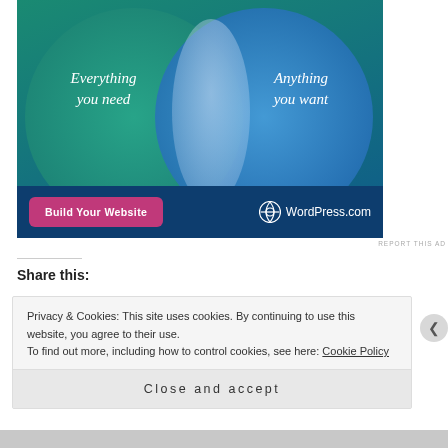[Figure (illustration): WordPress.com advertisement showing two overlapping circles (Venn diagram style) on a teal-to-blue gradient background. Left circle labeled 'Everything you need', right circle labeled 'Anything you want'. Pink 'Build Your Website' button at bottom left, WordPress.com logo at bottom right.]
REPORT THIS AD
Share this:
Privacy & Cookies: This site uses cookies. By continuing to use this website, you agree to their use.
To find out more, including how to control cookies, see here: Cookie Policy
Close and accept